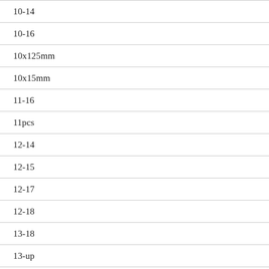10-14
10-16
10x125mm
10x15mm
11-16
11pcs
12-14
12-15
12-17
12-18
13-18
13-up
14-15